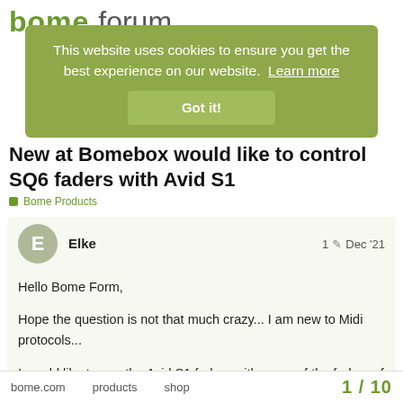bome forum
This website uses cookies to ensure you get the best experience on our website. Learn more
Got it!
New at Bomebox would like to control SQ6 faders with Avid S1
Bome Products
Elke   1  Dec '21
Hello Bome Form,
Hope the question is not that much crazy... I am new to Midi protocols...
I would like to use the Avid S1 faders with some of the faders of the A&H SQ6 now I got the Bome box in between...
I can select the A&H Mixer - Bome Box detects the Mixer.
But how I can map now the Avid S1?
Avid S1 is connected with Cat 6 cable to the bomebox.
The bomebox is connected to the Mixer vi
bome.com   products   shop   1 / 10